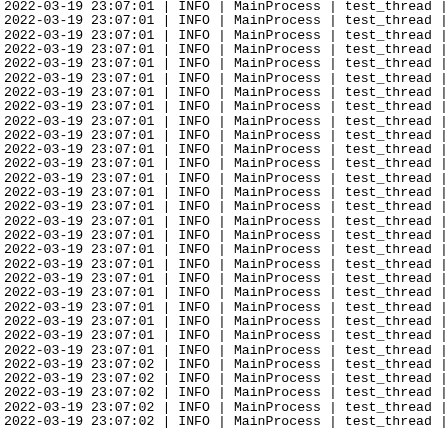| datetime | sep | level | sep | process | sep | thread |
| --- | --- | --- | --- | --- | --- | --- |
| 2022-03-19 23:07:01 | | | INFO | | | MainProcess | | | test_thread |
| 2022-03-19 23:07:01 | | | INFO | | | MainProcess | | | test_thread |
| 2022-03-19 23:07:01 | | | INFO | | | MainProcess | | | test_thread |
| 2022-03-19 23:07:01 | | | INFO | | | MainProcess | | | test_thread |
| 2022-03-19 23:07:01 | | | INFO | | | MainProcess | | | test_thread |
| 2022-03-19 23:07:01 | | | INFO | | | MainProcess | | | test_thread |
| 2022-03-19 23:07:01 | | | INFO | | | MainProcess | | | test_thread |
| 2022-03-19 23:07:01 | | | INFO | | | MainProcess | | | test_thread |
| 2022-03-19 23:07:01 | | | INFO | | | MainProcess | | | test_thread |
| 2022-03-19 23:07:01 | | | INFO | | | MainProcess | | | test_thread |
| 2022-03-19 23:07:01 | | | INFO | | | MainProcess | | | test_thread |
| 2022-03-19 23:07:01 | | | INFO | | | MainProcess | | | test_thread |
| 2022-03-19 23:07:01 | | | INFO | | | MainProcess | | | test_thread |
| 2022-03-19 23:07:01 | | | INFO | | | MainProcess | | | test_thread |
| 2022-03-19 23:07:01 | | | INFO | | | MainProcess | | | test_thread |
| 2022-03-19 23:07:01 | | | INFO | | | MainProcess | | | test_thread |
| 2022-03-19 23:07:01 | | | INFO | | | MainProcess | | | test_thread |
| 2022-03-19 23:07:01 | | | INFO | | | MainProcess | | | test_thread |
| 2022-03-19 23:07:01 | | | INFO | | | MainProcess | | | test_thread |
| 2022-03-19 23:07:01 | | | INFO | | | MainProcess | | | test_thread |
| 2022-03-19 23:07:01 | | | INFO | | | MainProcess | | | test_thread |
| 2022-03-19 23:07:01 | | | INFO | | | MainProcess | | | test_thread |
| 2022-03-19 23:07:01 | | | INFO | | | MainProcess | | | test_thread |
| 2022-03-19 23:07:01 | | | INFO | | | MainProcess | | | test_thread |
| 2022-03-19 23:07:01 | | | INFO | | | MainProcess | | | test_thread |
| 2022-03-19 23:07:02 | | | INFO | | | MainProcess | | | test_thread |
| 2022-03-19 23:07:02 | | | INFO | | | MainProcess | | | test_thread |
| 2022-03-19 23:07:02 | | | INFO | | | MainProcess | | | test_thread |
| 2022-03-19 23:07:02 | | | INFO | | | MainProcess | | | test_thread |
| 2022-03-19 23:07:02 | | | INFO | | | MainProcess | | | test_thread |